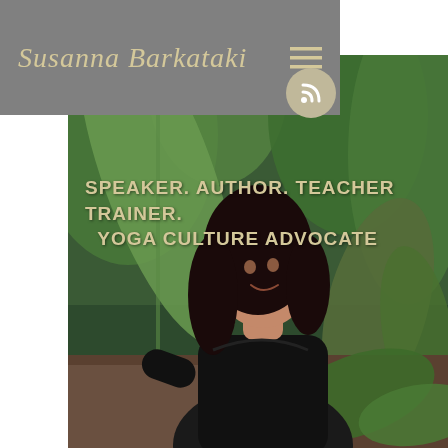Susanna Barkataki
[Figure (screenshot): Website screenshot showing Susanna Barkataki personal brand page with navigation bar, RSS button, and hero photo of a woman in black shirt among tropical plants with text overlay: SPEAKER. AUTHOR. TEACHER TRAINER. YOGA CULTURE ADVOCATE]
SPEAKER. AUTHOR. TEACHER TRAINER. YOGA CULTURE ADVOCATE